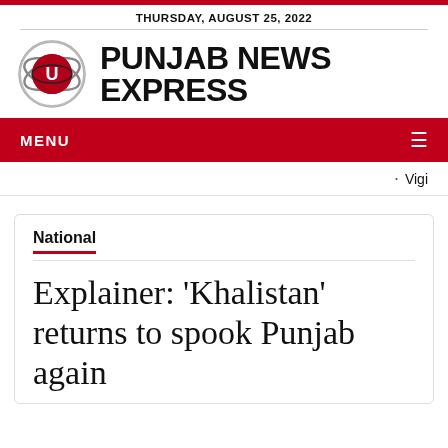THURSDAY, AUGUST 25, 2022
[Figure (logo): Punjab News Express logo with globe icon and bold text]
MENU
· Vigi
National
Explainer: 'Khalistan' returns to spook Punjab again